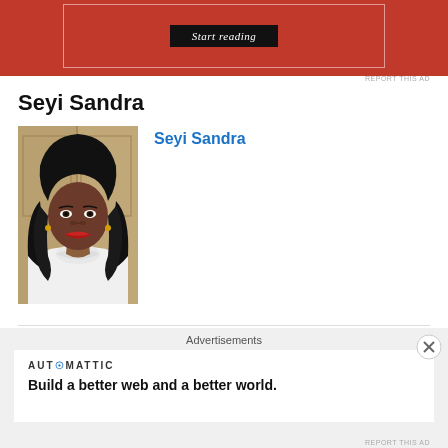[Figure (other): Red advertisement banner with 'Start reading' button]
REPORT THIS AD
Seyi Sandra
[Figure (photo): Profile photo of Seyi Sandra, a woman with long dark hair wearing a white turtleneck]
Seyi Sandra
[Figure (other): Paperback book cover with text WHERE HOPE IS A DREAM]
Paperback
Advertisements
[Figure (other): Automattic advertisement: Build a better web and a better world.]
REPORT THIS AD